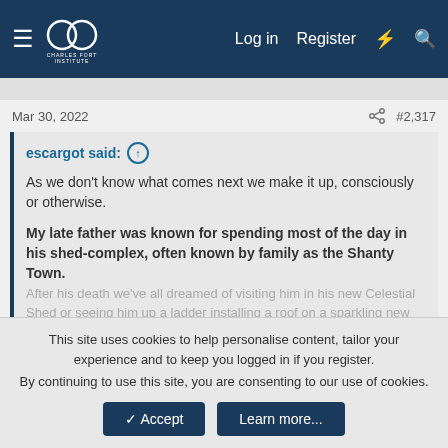Charles Fort Institute — Log in  Register
Mar 30, 2022  #2,317
escargot said: ↑

As we don't know what comes next we make it up, consciously or otherwise.

My late father was known for spending most of the day in his shed-complex, often known by family as the Shanty Town.
After his death we've all dreamed of visiting him in his new Celestial Shed or seeing him up a ladder installing a roof on a sparkling new one. 😊

Click to expand...
Yes, the batteries are never flat, the attachments always fit and you never catch your bits in the tool's bits.
This site uses cookies to help personalise content, tailor your experience and to keep you logged in if you register.
By continuing to use this site, you are consenting to our use of cookies.
✓ Accept   Learn more...